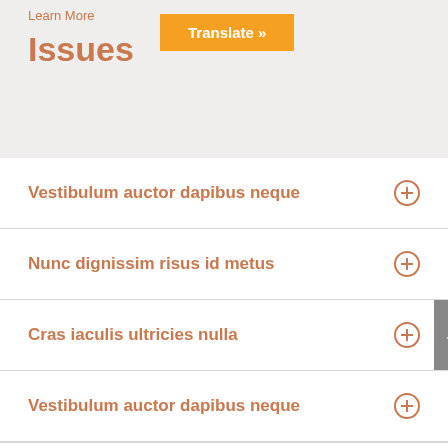Learn More
Translate »
Issues
Vestibulum auctor dapibus neque
Nunc dignissim risus id metus
Cras iaculis ultricies nulla
Vestibulum auctor dapibus neque
Contribute to a Cause